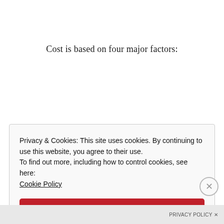Cost is based on four major factors:
Privacy & Cookies: This site uses cookies. By continuing to use this website, you agree to their use.
To find out more, including how to control cookies, see here:
Cookie Policy
Close and accept